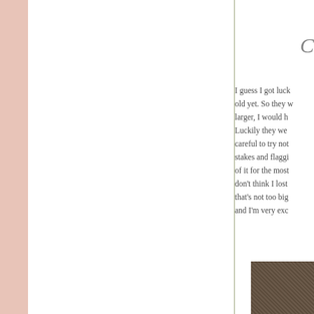C
I guess I got luck... old yet. So they w... larger, I would h... Luckily they we... careful to try not... stakes and flaggi... of it for the most... don't think I lost... that's not too big... and I'm very exc...
[Figure (photo): Outdoor photograph showing what appears to be a garden or ground area with leaves or mulch]